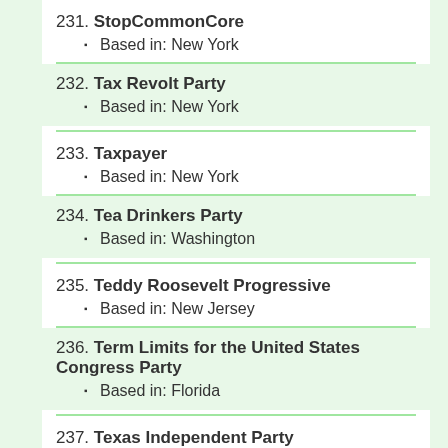231. StopCommonCore — Based in: New York
232. Tax Revolt Party — Based in: New York
233. Taxpayer — Based in: New York
234. Tea Drinkers Party — Based in: Washington
235. Teddy Roosevelt Progressive — Based in: New Jersey
236. Term Limits for the United States Congress Party — Based in: Florida
237. Texas Independent Party